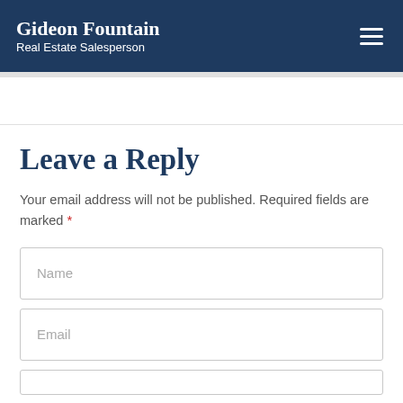Gideon Fountain
Real Estate Salesperson
Leave a Reply
Your email address will not be published. Required fields are marked *
Name
Email